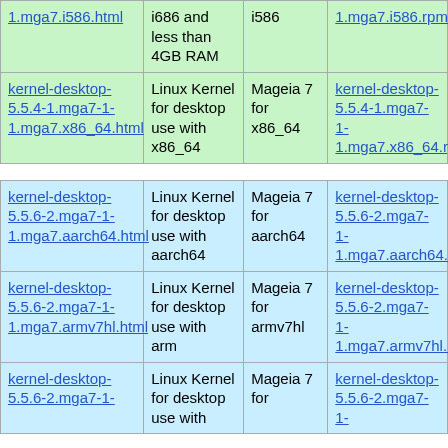|  | Description | Arch | RPM |
| --- | --- | --- | --- |
| kernel-desktop-5.5.4-1.mga7-1-1.mga7.i586.html | i686 and less than 4GB RAM | i586 | kernel-desktop-5.5.4-1.mga7-1-1.mga7.i586.rpm |
| kernel-desktop-5.5.4-1.mga7-1-1.mga7.x86_64.html | Linux Kernel for desktop use with x86_64 | Mageia 7 for x86_64 | kernel-desktop-5.5.4-1.mga7-1-1.mga7.x86_64.rpm |
| kernel-desktop-5.5.6-2.mga7-1-1.mga7.aarch64.html | Linux Kernel for desktop use with aarch64 | Mageia 7 for aarch64 | kernel-desktop-5.5.6-2.mga7-1-1.mga7.aarch64.rpm |
| kernel-desktop-5.5.6-2.mga7-1-1.mga7.armv7hl.html | Linux Kernel for desktop use with arm | Mageia 7 for armv7hl | kernel-desktop-5.5.6-2.mga7-1-1.mga7.armv7hl.rpm |
| kernel-desktop-5.5.6-2.mga7-1- | Linux Kernel for desktop use with i586 and... | Mageia 7 for | kernel-desktop-5.5.6-2.mga7-1- |